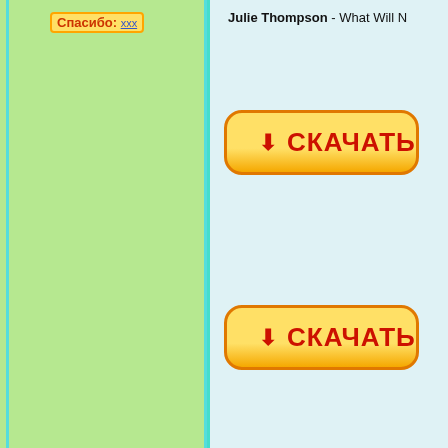Спасибо: xxx
Julie Thompson - What Will N
[Figure (other): Yellow download button with red Cyrillic text СКАЧАТЬ and arrow icon, orange border, rounded rectangle shape]
[Figure (other): Yellow download button with red Cyrillic text СКАЧАТЬ and arrow icon, orange border, rounded rectangle shape (second instance)]